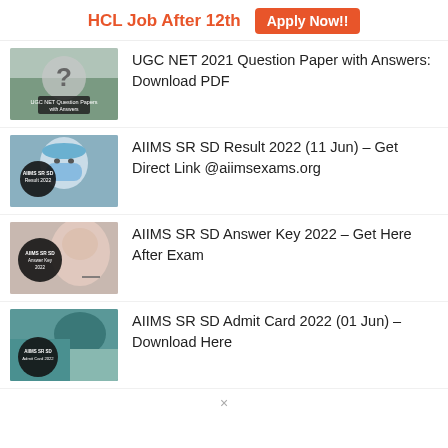HCL Job After 12th  Apply Now!!
UGC NET 2021 Question Paper with Answers: Download PDF
AIIMS SR SD Result 2022 (11 Jun) – Get Direct Link @aiimsexams.org
AIIMS SR SD Answer Key 2022 – Get Here After Exam
AIIMS SR SD Admit Card 2022 (01 Jun) – Download Here
×